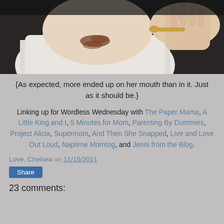[Figure (photo): Close-up photo of a baby or young child in a white shirt with chocolate or food on and around their mouth, with an adult hand holding something near the child's mouth. The adult hand has a wedding ring.]
{As expected, more ended up on her mouth than in it. Just as it should be.}
Linking up for Wordless Wednesday with The Paper Mama, A Little King and I, 5 Minutes for Mom, Parenting By Dummies, Project Alicia, Supermom, And Then She Snapped, Live and Love Out Loud, Naptime Momtog, and Jenni from the Blog.
Love, Chelsea on 11/15/2011
Share
23 comments: